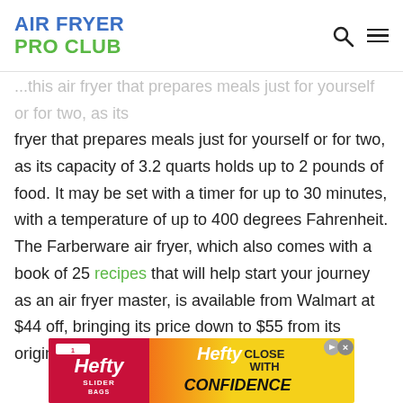AIR FRYER PRO CLUB
fryer that prepares meals just for yourself or for two, as its capacity of 3.2 quarts holds up to 2 pounds of food. It may be set with a timer for up to 30 minutes, with a temperature of up to 400 degrees Fahrenheit. The Farberware air fryer, which also comes with a book of 25 recipes that will help start your journey as an air fryer master, is available from Walmart at $44 off, bringing its price down to $55 from its original price of $99.
[Figure (other): Hefty Slider Bags advertisement banner with red, orange, and yellow gradient background showing Hefty logo and 'CLOSE WITH CONFIDENCE' tagline]